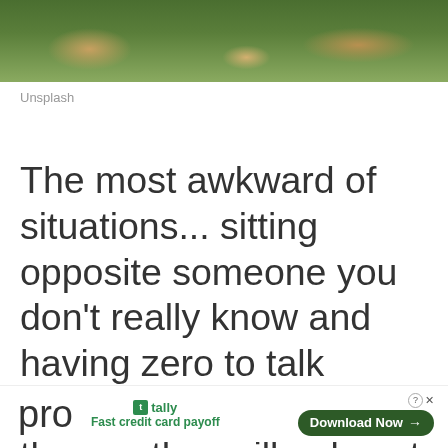[Figure (photo): Top portion of an outdoor photo showing grass and ground, cropped at the top of the page]
Unsplash
The most awkward of situations... sitting opposite someone you don't really know and having zero to talk about! Chatting about the weather will only get you so far... pro
tally Fast credit card payoff Download Now →